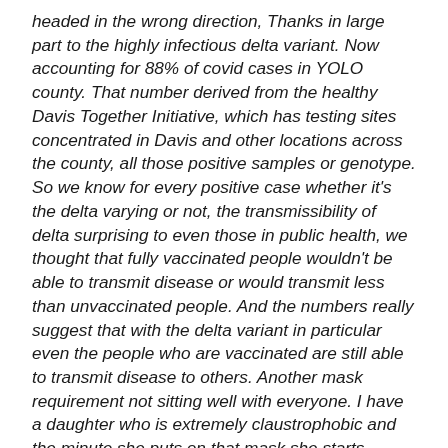headed in the wrong direction, Thanks in large part to the highly infectious delta variant. Now accounting for 88% of covid cases in YOLO county. That number derived from the healthy Davis Together Initiative, which has testing sites concentrated in Davis and other locations across the county, all those positive samples or genotype. So we know for every positive case whether it's the delta varying or not, the transmissibility of delta surprising to even those in public health, we thought that fully vaccinated people wouldn't be able to transmit disease or would transmit less than unvaccinated people. And the numbers really suggest that with the delta variant in particular even the people who are vaccinated are still able to transmit disease to others. Another mask requirement not sitting well with everyone. I have a daughter who is extremely claustrophobic and the minute she puts on that mask she starts hyperventilating and so she's having a very difficult time with this others in it for the long haul because we want to be able to protect